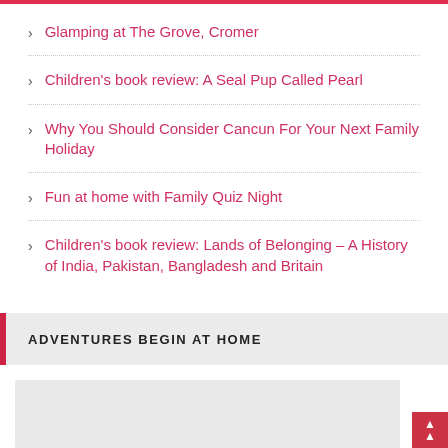Glamping at The Grove, Cromer
Children's book review: A Seal Pup Called Pearl
Why You Should Consider Cancun For Your Next Family Holiday
Fun at home with Family Quiz Night
Children's book review: Lands of Belonging – A History of India, Pakistan, Bangladesh and Britain
ADVENTURES BEGIN AT HOME
[Figure (photo): Partial image placeholder at bottom of page]